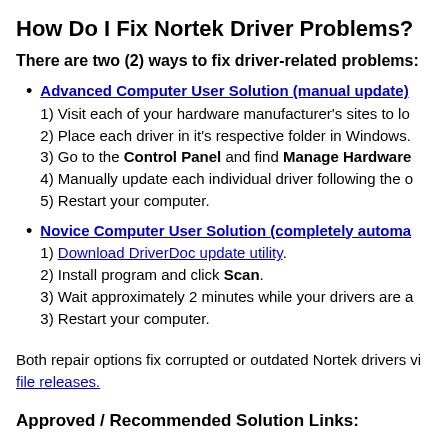How Do I Fix Nortek Driver Problems?
There are two (2) ways to fix driver-related problems:
Advanced Computer User Solution (manual update): 1) Visit each of your hardware manufacturer's sites to lo... 2) Place each driver in it's respective folder in Windows. 3) Go to the Control Panel and find Manage Hardware... 4) Manually update each individual driver following the o... 5) Restart your computer.
Novice Computer User Solution (completely automa...: 1) Download DriverDoc update utility. 2) Install program and click Scan. 3) Wait approximately 2 minutes while your drivers are a... 3) Restart your computer.
Both repair options fix corrupted or outdated Nortek drivers vi... file releases.
Approved / Recommended Solution Links: